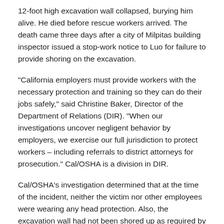12-foot high excavation wall collapsed, burying him alive. He died before rescue workers arrived. The death came three days after a city of Milpitas building inspector issued a stop-work notice to Luo for failure to provide shoring on the excavation.
"California employers must provide workers with the necessary protection and training so they can do their jobs safely," said Christine Baker, Director of the Department of Relations (DIR). "When our investigations uncover negligent behavior by employers, we exercise our full jurisdiction to protect workers – including referrals to district attorneys for prosecution." Cal/OSHA is a division in DIR.
Cal/OSHA's investigation determined that at the time of the incident, neither the victim nor other employees were wearing any head protection. Also, the excavation wall had not been shored up as required by law. Furthermore, the employer did not have a competent person for excavation on the jobsite to ensure that the wall was